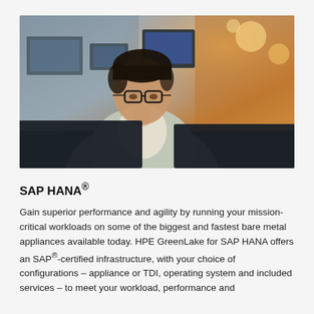[Figure (photo): A young man with glasses wearing a light gray blazer, leaning forward and looking at computer monitors in an office environment with warm orange lighting in the background.]
SAP HANA®
Gain superior performance and agility by running your mission-critical workloads on some of the biggest and fastest bare metal appliances available today. HPE GreenLake for SAP HANA offers an SAP®-certified infrastructure, with your choice of configurations – appliance or TDI, operating system and included services – to meet your workload, performance and